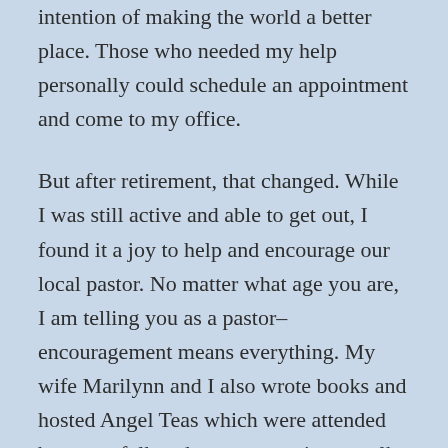intention of making the world a better place. Those who needed my help personally could schedule an appointment and come to my office.
But after retirement, that changed. While I was still active and able to get out, I found it a joy to help and encourage our local pastor. No matter what age you are, I am telling you as a pastor–encouragement means everything. My wife Marilynn and I also wrote books and hosted Angel Teas which were attended by many folks who came, not just to talk about angels, but also about their lives.
As Marilynn's health deteriorated, I felt my calling was to care for her, and, as dementia crept into our home and into her mind, it was my priviledge to help her feel safe